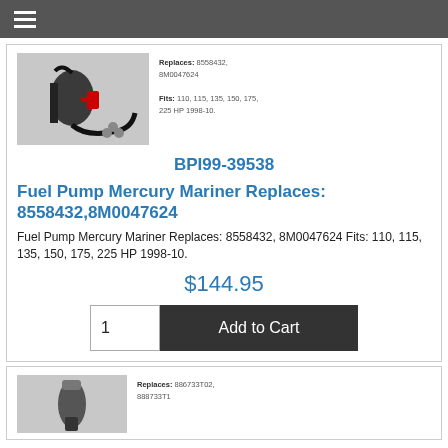≡ (hamburger menu)
[Figure (photo): Fuel pump assembly product photo showing pump, hoses, and o-rings]
Replaces: 8558432, 8M0047624
Fits: 110, 115, 135, 150, 175, 225 HP 1998-10.
BPI99-39538
Fuel Pump Mercury Mariner Replaces: 8558432,8M0047624
Fuel Pump Mercury Mariner Replaces: 8558432, 8M0047624 Fits: 110, 115, 135, 150, 175, 225 HP 1998-10.
$144.95
1  Add to Cart
[Figure (photo): Second product photo showing a fuel pump part]
Replaces: 886733T02, 888733T1